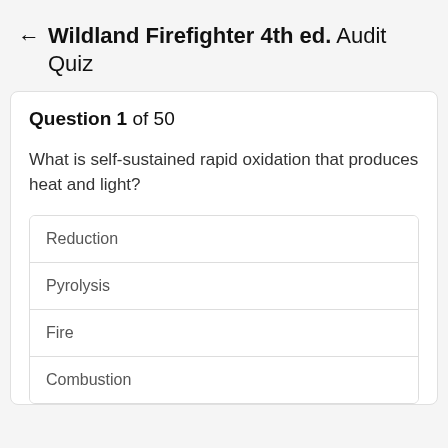← Wildland Firefighter 4th ed. Audit Quiz
Question 1 of 50
What is self-sustained rapid oxidation that produces heat and light?
Reduction
Pyrolysis
Fire
Combustion